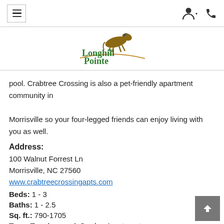Navigation header with hamburger menu, user icon, and phone icon
[Figure (logo): Longhill Pointe Distinctive Apartment Living logo with horse graphic]
pool. Crabtree Crossing is also a pet-friendly apartment community in Morrisville so your four-legged friends can enjoy living with you as well.
Address:
100 Walnut Forrest Ln
Morrisville, NC 27560
www.crabtreecrossingapts.com
Beds: 1 - 3
Baths: 1 - 2.5
Sq. ft.: 790-1705
Type: Townhomes & Garden Apartments
VIEW WEBSITE